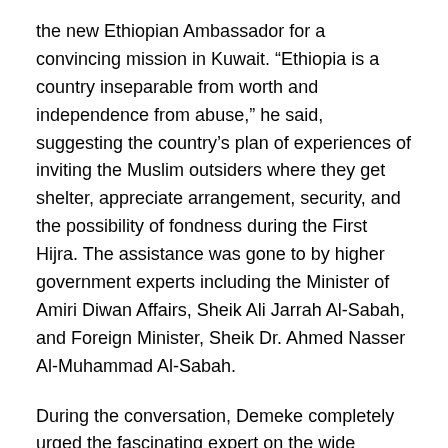the new Ethiopian Ambassador for a convincing mission in Kuwait. “Ethiopia is a country inseparable from worth and independence from abuse,” he said, suggesting the country’s plan of experiences of inviting the Muslim outsiders where they get shelter, appreciate arrangement, security, and the possibility of fondness during the First Hijra. The assistance was gone to by higher government experts including the Minister of Amiri Diwan Affairs, Sheik Ali Jarrah Al-Sabah, and Foreign Minister, Sheik Dr. Ahmed Nasser Al-Muhammad Al-Sabah.
During the conversation, Demeke completely urged the fascinating expert on the wide degree of reconstructing and switching works up there, recalling caring sponsorships to those out of luck. Two rounds of helpful relief developments that looked out for the necessities of 4.5 million and 2.9 million individuals autonomously were done effectively, adding that